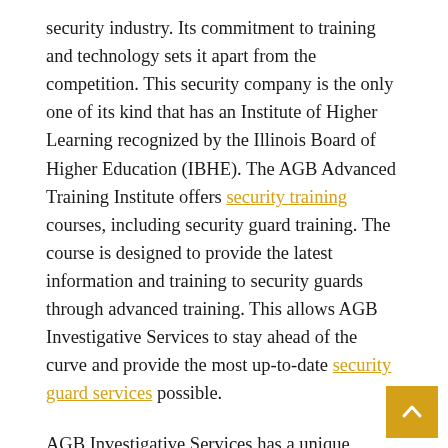security industry. Its commitment to training and technology sets it apart from the competition. This security company is the only one of its kind that has an Institute of Higher Learning recognized by the Illinois Board of Higher Education (IBHE). The AGB Advanced Training Institute offers security training courses, including security guard training. The course is designed to provide the latest information and training to security guards through advanced training. This allows AGB Investigative Services to stay ahead of the curve and provide the most up-to-date security guard services possible.

AGB Investigative Services has a unique approach to security that combines the latest technology with physical security and training. This approach has provided their security guards with new ways to protect their clients from emerging threats. These professionals have industry expertise in various